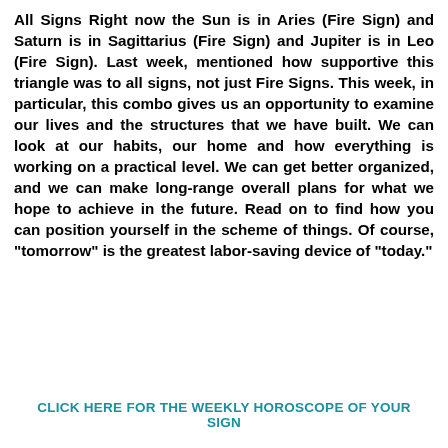All Signs Right now the Sun is in Aries (Fire Sign) and Saturn is in Sagittarius (Fire Sign) and Jupiter is in Leo (Fire Sign). Last week, mentioned how supportive this triangle was to all signs, not just Fire Signs. This week, in particular, this combo gives us an opportunity to examine our lives and the structures that we have built. We can look at our habits, our home and how everything is working on a practical level. We can get better organized, and we can make long-range overall plans for what we hope to achieve in the future. Read on to find how you can position yourself in the scheme of things. Of course, "tomorrow" is the greatest labor-saving device of "today."
CLICK HERE FOR THE WEEKLY HOROSCOPE OF YOUR SIGN